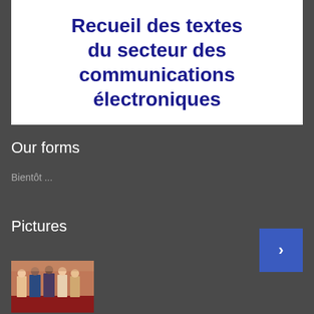[Figure (illustration): Book cover or banner image with bold dark blue text on white background reading 'Recueil des textes du secteur des communications électroniques']
Our forms
Bientôt ...
Pictures
[Figure (photo): Group photo of several people standing together, appearing to be at an official or formal event]